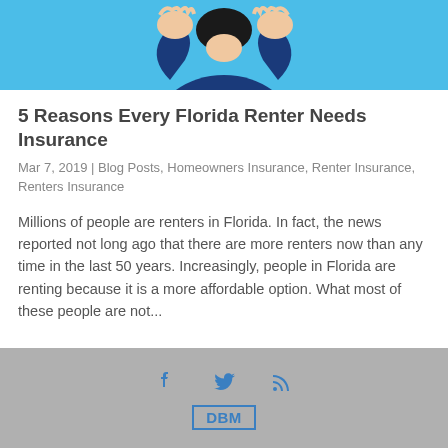[Figure (illustration): Illustration of a person with hands raised near face against a blue background, suggesting stress or concern about insurance]
5 Reasons Every Florida Renter Needs Insurance
Mar 7, 2019 | Blog Posts, Homeowners Insurance, Renter Insurance, Renters Insurance
Millions of people are renters in Florida. In fact, the news reported not long ago that there are more renters now than any time in the last 50 years. Increasingly, people in Florida are renting because it is a more affordable option. What most of these people are not...
DBM